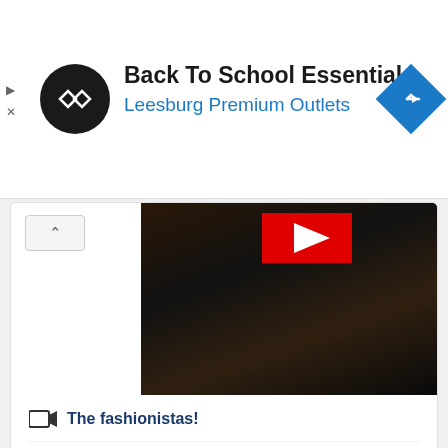[Figure (screenshot): Advertisement banner for Back To School Essentials at Leesburg Premium Outlets with logo and navigation icon]
Back To School Essentials
Leesburg Premium Outlets
[Figure (screenshot): Video thumbnail showing fashion show performers on stage with YouTube play button overlay]
The fashionistas!
Niagara Falls
A dog's day!
[Figure (photo): Newchic advertisement showing colorful striped hoodie and grey leather jacket on orange background]